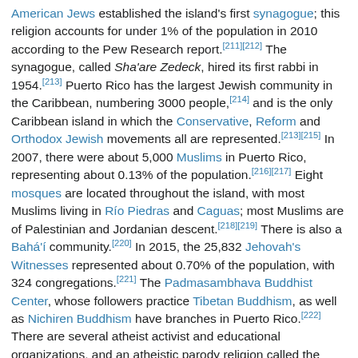American Jews established the island's first synagogue; this religion accounts for under 1% of the population in 2010 according to the Pew Research report.[211][212] The synagogue, called Sha'are Zedeck, hired its first rabbi in 1954.[213] Puerto Rico has the largest Jewish community in the Caribbean, numbering 3000 people,[214] and is the only Caribbean island in which the Conservative, Reform and Orthodox Jewish movements all are represented.[213][215] In 2007, there were about 5,000 Muslims in Puerto Rico, representing about 0.13% of the population.[216][217] Eight mosques are located throughout the island, with most Muslims living in Río Piedras and Caguas; most Muslims are of Palestinian and Jordanian descent.[218][219] There is also a Bahá'í community.[220] In 2015, the 25,832 Jehovah's Witnesses represented about 0.70% of the population, with 324 congregations.[221] The Padmasambhava Buddhist Center, whose followers practice Tibetan Buddhism, as well as Nichiren Buddhism have branches in Puerto Rico.[222] There are several atheist activist and educational organizations, and an atheistic parody religion called the Pastafarian Church of Puerto Rico.[223] An ISKCON temple in Gurabo is devoted to Krishna Consciousness, with two preaching centers in the metropolitan area.